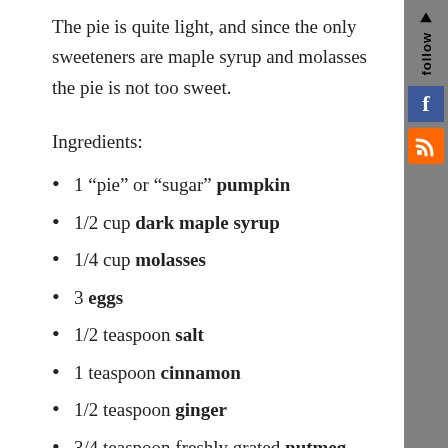The pie is quite light, and since the only sweeteners are maple syrup and molasses the pie is not too sweet.
Ingredients:
1 “pie” or “sugar” pumpkin
1/2 cup dark maple syrup
1/4 cup molasses
3 eggs
1/2 teaspoon salt
1 teaspoon cinnamon
1/2 teaspoon ginger
3/4 teaspoon freshly grated nutmeg